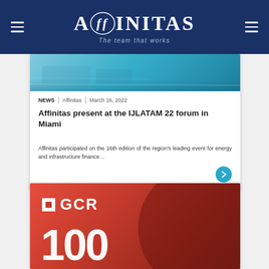AFFINITAS — The team that works
[Figure (photo): Aerial photo of water/infrastructure in teal tones — top portion of news article card]
NEWS | Affinitas | March 16, 2022
Affinitas present at the IJLATAM 22 forum in Miami
Affinitas participated on the 16th edition of the region's leading event for energy and infrastructure finance…
[Figure (photo): GCR red branded card with large number 100]